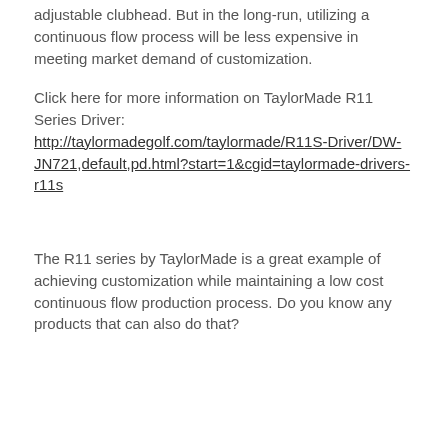adjustable clubhead. But in the long-run, utilizing a continuous flow process will be less expensive in meeting market demand of customization.
Click here for more information on TaylorMade R11 Series Driver: http://taylormadegolf.com/taylormade/R11S-Driver/DW-JN721,default,pd.html?start=1&cgid=taylormade-drivers-r11s
The R11 series by TaylorMade is a great example of achieving customization while maintaining a low cost continuous flow production process. Do you know any products that can also do that?